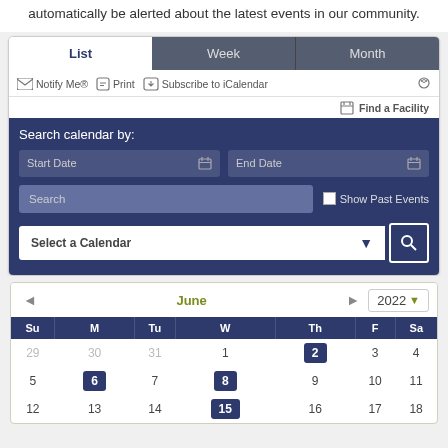automatically be alerted about the latest events in our community.
[Figure (screenshot): Community events calendar UI with List/Week/Month tabs, Notify Me, Print, Subscribe to iCalendar toolbar, Search calendar by Start/End Date fields, Search text input, Show Past Events checkbox, Select a Calendar dropdown, and June 2022 monthly calendar grid showing highlighted event dates 2, 6, 8, 15.]